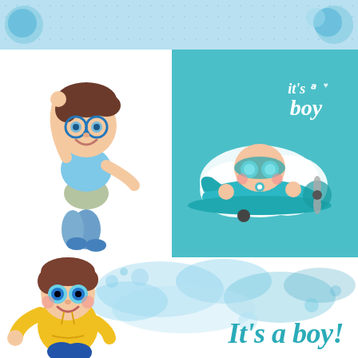[Figure (illustration): Top light blue banner with white polka dots pattern, decorative header strip]
[Figure (illustration): Cartoon boy with glasses, brown hair, blue shirt, khaki shorts and blue sneakers, waving with one arm raised high]
[Figure (illustration): Teal/turquoise square panel with baby pilot in aviator goggles riding a teal airplane, white cloud behind, text 'it's a boy' in white italic script]
[Figure (illustration): Cartoon boy with brown hair, yellow hoodie, blue pants, waving hand, big blue eyes]
[Figure (illustration): Blue watercolor paint splash background behind 'It's a boy!' text]
It's a boy!